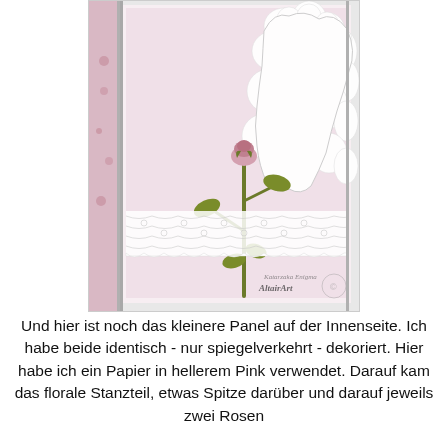[Figure (photo): A handcrafted card panel showing a pink paper background with white embossed/die-cut floral border design, a green floral stem with pink rose bud die-cut on top, a white lace ribbon across the middle, with gray matting and pink patterned paper visible on the left side. An 'Altair Art' watermark is visible in the lower right corner.]
Und hier ist noch das kleinere Panel auf der Innenseite. Ich habe beide identisch - nur spiegelverkehrt - dekoriert. Hier habe ich ein Papier in hellerem Pink verwendet. Darauf kam das florale Stanzteil, etwas Spitze darüber und darauf jeweils zwei Rosen